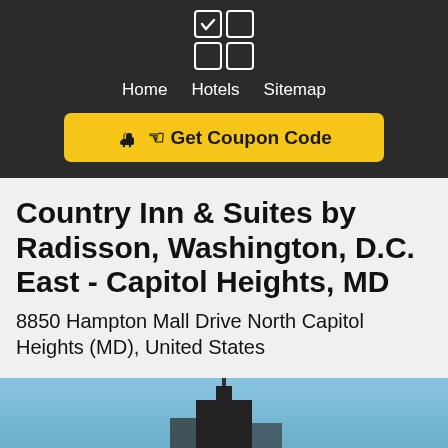[Figure (logo): 2x2 grid logo with checkmark in top-left cell, on dark background header]
Home  Hotels  Sitemap
☛ Get Coupon Code
Country Inn & Suites by Radisson, Washington, D.C. East - Capitol Heights, MD
8850 Hampton Mall Drive North Capitol Heights (MD), United States
[Figure (photo): Exterior photo of hotel building against blue sky]